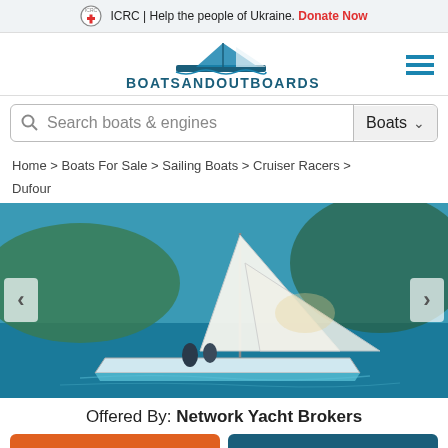ICRC | Help the people of Ukraine. Donate Now
[Figure (logo): BoatsAndOutboards logo with boat graphic above bold teal text BOATSANDOUTBOARDS]
Search boats & engines   Boats
Home > Boats For Sale > Sailing Boats > Cruiser Racers > Dufour
[Figure (photo): Sailing yacht with large white sails on blue water with green hills in background, two people visible on deck]
Offered By: Network Yacht Brokers
Contact
Call